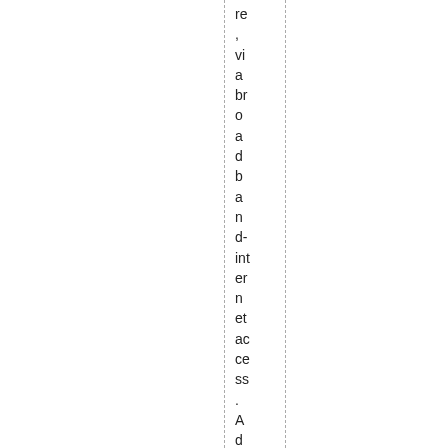re ,vi a br o a d b a n d- int er n et ac ce ss . A d dit io n all y, su ch fu